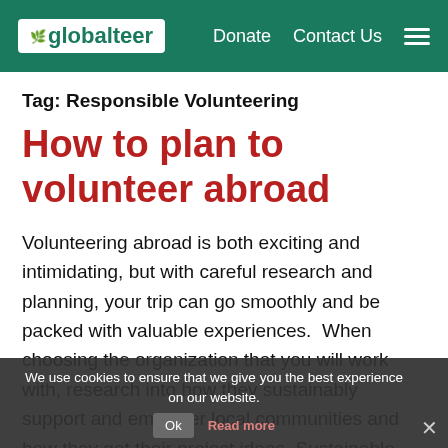globalteer | Donate | Contact Us
Tag: Responsible Volunteering
How to plan to volunteer abroad
Volunteering abroad is both exciting and intimidating, but with careful research and planning, your trip can go smoothly and be packed with valuable experiences. When choosing the organization that you will work with, research into how they sustainably support and empower local communities and how they get their project ideas. Sustainable Organisations If
We use cookies to ensure that we give you the best experience on our website.